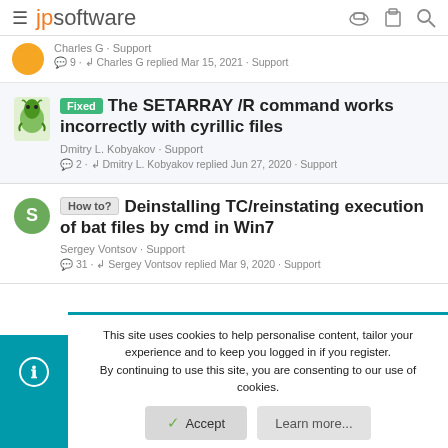jpsoftware
Charles G · Support
💬9 · ↩ Charles G replied Mar 15, 2021 · Support
Fixed The SETARRAY /R command works incorrectly with cyrillic files
Dmitry L. Kobyakov · Support
💬2 · ↩ Dmitry L. Kobyakov replied Jun 27, 2020 · Support
How to? Deinstalling TC/reinstating execution of bat files by cmd in Win7
Sergey Vontsov · Support
💬31 · ↩ Sergey Vontsov replied Mar 9, 2020 · Support
This site uses cookies to help personalise content, tailor your experience and to keep you logged in if you register.
By continuing to use this site, you are consenting to our use of cookies.
Accept
Learn more...